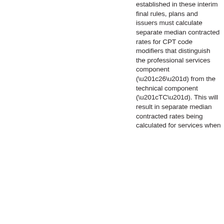established in these interim final rules, plans and issuers must calculate separate median contracted rates for CPT code modifiers that distinguish the professional services component (“26”) from the technical component (“TC”). This will result in separate median contracted rates being calculated for services when